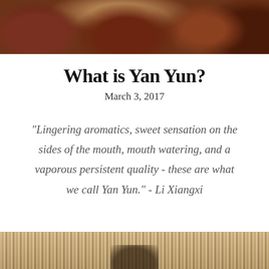[Figure (photo): Top photo showing reddish-brown pottery bowls and dishes arranged on a surface, warm earthy tones]
What is Yan Yun?
March 3, 2017
"Lingering aromatics, sweet sensation on the sides of the mouth, mouth watering, and a vaporous persistent quality - these are what we call Yan Yun." - Li Xiangxi
[Figure (photo): Bottom photo showing a woven mat or bamboo surface with a partial silhouette of a figure]